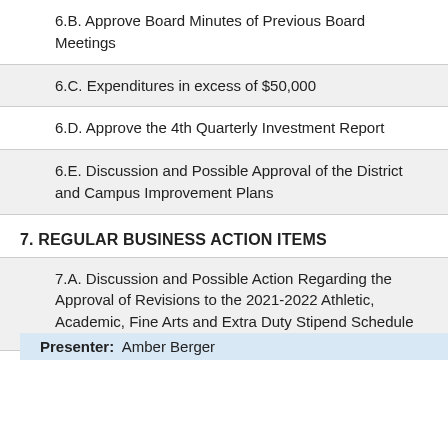6.B. Approve Board Minutes of Previous Board Meetings
6.C. Expenditures in excess of $50,000
6.D. Approve the 4th Quarterly Investment Report
6.E. Discussion and Possible Approval of the District and Campus Improvement Plans
7. REGULAR BUSINESS ACTION ITEMS
7.A. Discussion and Possible Action Regarding the Approval of Revisions to the 2021-2022 Athletic, Academic, Fine Arts and Extra Duty Stipend Schedule
Presenter: Amber Berger